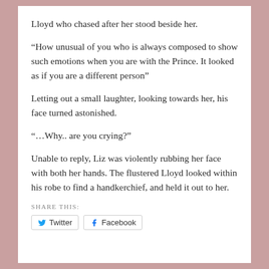Lloyd who chased after her stood beside her.
“How unusual of you who is always composed to show such emotions when you are with the Prince. It looked as if you are a different person”
Letting out a small laughter, looking towards her, his face turned astonished.
“…Why.. are you crying?”
Unable to reply, Liz was violently rubbing her face with both her hands. The flustered Lloyd looked within his robe to find a handkerchief, and held it out to her.
SHARE THIS:
Twitter   Facebook